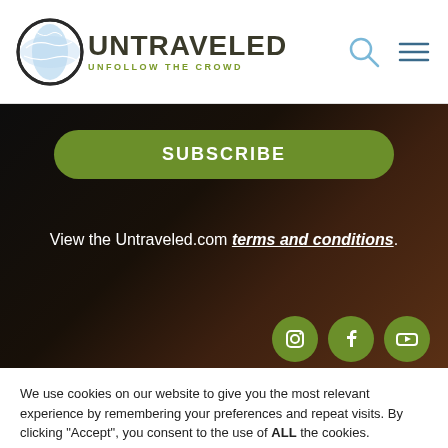[Figure (logo): Untraveled logo with globe icon, text UNTRAVELED and tagline UNFOLLOW THE CROWD]
[Figure (other): Search icon and hamburger menu icon in header]
SUBSCRIBE
View the Untraveled.com terms and conditions.
[Figure (other): Instagram, Facebook, and YouTube social media icons in green circles]
We use cookies on our website to give you the most relevant experience by remembering your preferences and repeat visits. By clicking “Accept”, you consent to the use of ALL the cookies.
Cookie settings
ACCEPT